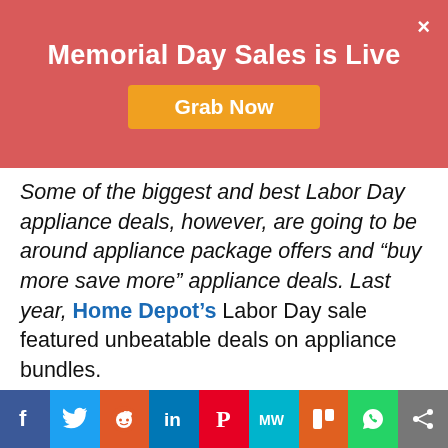Memorial Day Sales is Live
Some of the biggest and best Labor Day appliance deals, however, are going to be around appliance package offers and “buy more save more” appliance deals. Last year, Home Depot’s Labor Day sale featured unbeatable deals on appliance bundles.
It’s these types of Labor Day appliance sales, along with instant rebates and price drops, are the offers that shoppers will want to keep an eye out for this year. Over the next few weeks, you’ll start to see these types of appliance deals pop up at your favourite places to shop.